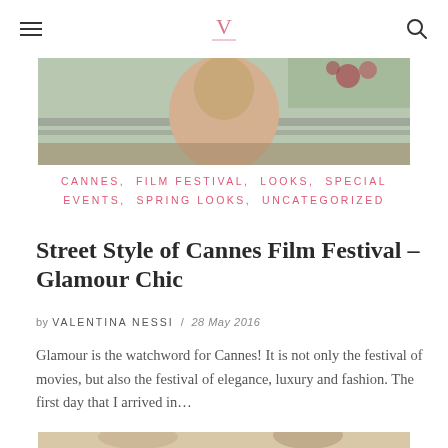≡  V  🔍
[Figure (photo): Top cropped photo showing a person at what appears to be Cannes, with outdoor background including railing and flowers]
CANNES, FILM FESTIVAL, LOOKS, SPECIAL EVENTS, SPRING LOOKS, UNCATEGORIZED
Street Style of Cannes Film Festival – Glamour Chic
by VALENTINA NESSI / 28 May 2016
Glamour is the watchword for Cannes! It is not only the festival of movies, but also the festival of elegance, luxury and fashion. The first day that I arrived in…
[Figure (photo): Bottom photo showing people at Cannes Film Festival street style, partially visible]